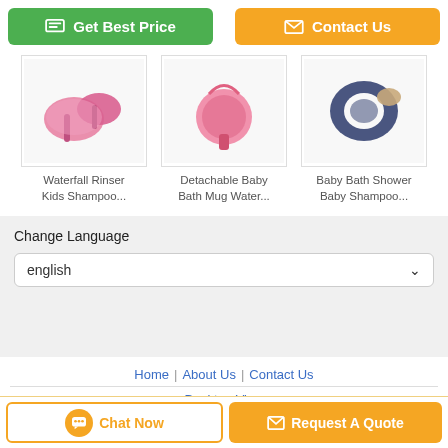[Figure (screenshot): Get Best Price button (green) and Contact Us button (orange) side by side]
[Figure (photo): Waterfall Rinser Kids Shampoo product thumbnail]
Waterfall Rinser Kids Shampoo...
[Figure (photo): Detachable Baby Bath Mug Water product thumbnail]
Detachable Baby Bath Mug Water...
[Figure (photo): Baby Bath Shower Baby Shampoo product thumbnail]
Baby Bath Shower Baby Shampoo...
Change Language
english
Home | About Us | Contact Us
Desktop View
Copyright © 2018 - 2021 child-safetyproducts.com. All rights reserved.
[Figure (screenshot): Chat Now button and Request A Quote button at the bottom]